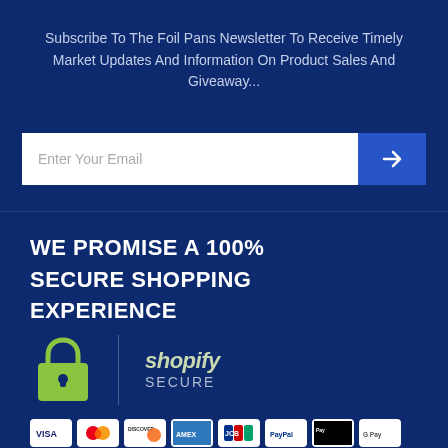Subscribe To The Foil Pans Newsletter To Receive Timely Market Updates And Information On Product Sales And Giveaway...
[Figure (other): Email subscription input field with white background placeholder text 'Enter Your Email' and a blue arrow submit button]
WE PROMISE A 100% SECURE SHOPPING EXPERIENCE
[Figure (logo): Shopify Secure badge with green padlock icon and vertical divider next to 'shopify SECURE' text]
[Figure (other): Payment method icons: Visa, Mastercard, Discover, Amex, JCB, PayPal, Apple Pay, Google Pay]